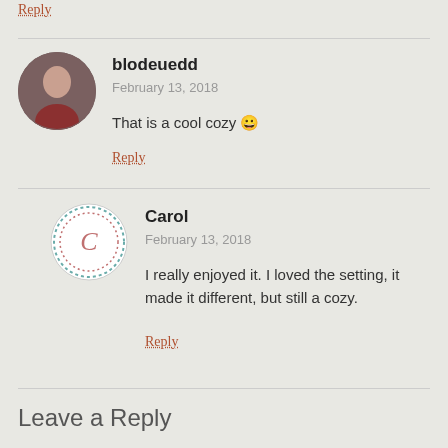Reply
blodeuedd
February 13, 2018
That is a cool cozy 😀
Reply
Carol
February 13, 2018
I really enjoyed it. I loved the setting, it made it different, but still a cozy.
Reply
Leave a Reply